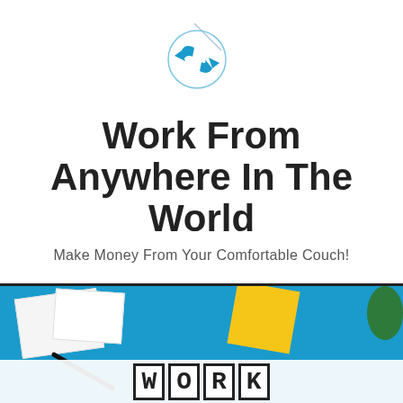[Figure (logo): Circular logo with blue arrow/sync icon and diagonal line accent]
Work From Anywhere In The World
Make Money From Your Comfortable Couch!
[Figure (infographic): Navigation bar with hamburger menu icon (three horizontal lines) below a thick black top border]
[Figure (photo): Photo showing wooden letter blocks spelling HOME on a blue background with papers, yellow sticky notes, a pen, and a plant]